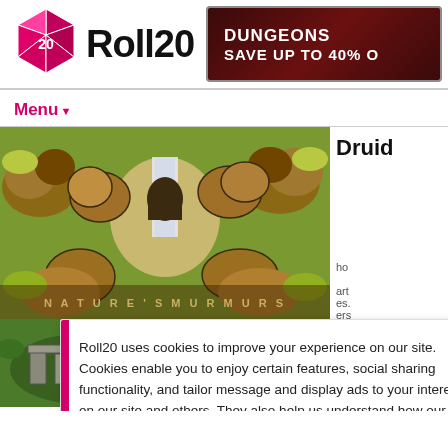[Figure (logo): Roll20 logo with pink icosahedron die and bold Roll20 text]
[Figure (infographic): Dungeons advertisement banner - dark red background with white text: DUNGEONS, SAVE UP TO 40% O]
Menu▼
[Figure (illustration): Fantasy map illustration showing rocky cave entrance with waterfall, brown rocks, yellow-green foliage, top-down view game map]
Druid
Roll20 uses cookies to improve your experience on our site. Cookies enable you to enjoy certain features, social sharing functionality, and tailor message and display ads to your interests on our site and others. They also help us understand how our site is being used. By continuing to use our site, you consent to our use of cookies. Update your cookie preferences here.
[Figure (illustration): Fantasy map illustration showing stone ruins/standing stones in a green grassy area, top-down game map view]
Price